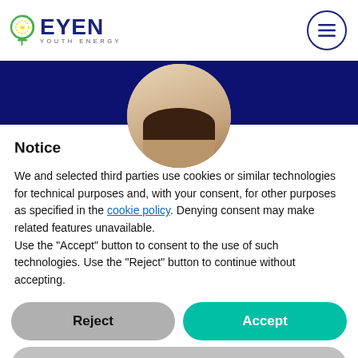[Figure (logo): EYEN Youth Energy logo with green circular icon and dark blue text]
[Figure (photo): Circular cropped photo of a person's head/hair on a dark navy blue banner background]
Notice
We and selected third parties use cookies or similar technologies for technical purposes and, with your consent, for other purposes as specified in the cookie policy. Denying consent may make related features unavailable.
Use the “Accept” button to consent to the use of such technologies. Use the “Reject” button to continue without accepting.
Reject
Accept
Learn more